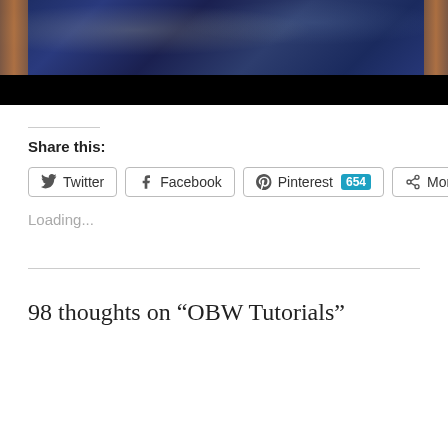[Figure (photo): A blue and dark patterned quilt or fabric hanging displayed against wooden furniture, with a black bar at the bottom of the photo area.]
Share this:
Twitter  Facebook  Pinterest 654  More
Loading...
98 thoughts on “OBW Tutorials”